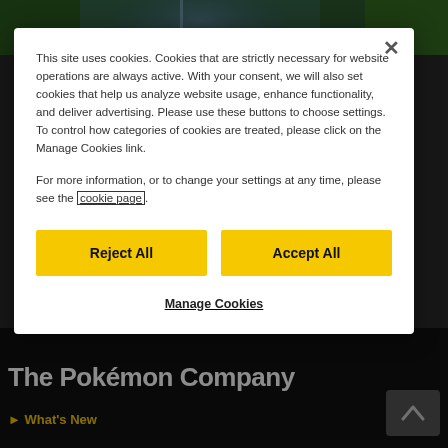[Figure (screenshot): Background showing a Pokémon website with dark background, colorful game imagery at top, 'The Pokémon Company' title in white bold text at bottom left, and a 'What's New' navigation link.]
This site uses cookies. Cookies that are strictly necessary for website operations are always active. With your consent, we will also set cookies that help us analyze website usage, enhance functionality, and deliver advertising. Please use these buttons to choose settings. To control how categories of cookies are treated, please click on the Manage Cookies link.
For more information, or to change your settings at any time, please see the cookie page.
Reject All
Accept All
Manage Cookies